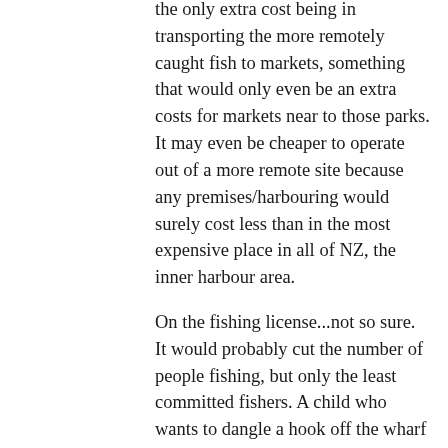the only extra cost being in transporting the more remotely caught fish to markets, something that would only even be an extra costs for markets near to those parks. It may even be cheaper to operate out of a more remote site because any premises/harbouring would surely cost less than in the most expensive place in all of NZ, the inner harbour area.
On the fishing license...not so sure. It would probably cut the number of people fishing, but only the least committed fishers. A child who wants to dangle a hook off the wharf just won't do it if some fish cop is going to come and give them a ticket. But the adults who like to fish every week will definitely pay, so long as it's a nominal sum. I might go fishing maybe a couple of times a year, taking my boys with me to just see what it's about. We seldom even catch anything. I probably wouldn't go if there was a hundred dollar barrier per person involved. So you cut down on casual recreational fishing that probably has negligible impact and have no effect on the guys that line the wharfs and